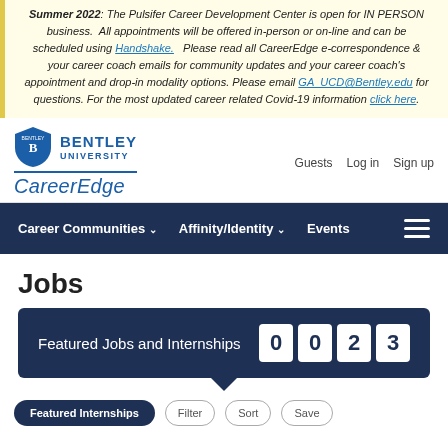Summer 2022: The Pulsifer Career Development Center is open for IN PERSON business. All appointments will be offered in-person or on-line and can be scheduled using Handshake. Please read all CareerEdge e-correspondence & your career coach emails for community updates and your career coach's appointment and drop-in modality options. Please email GA_UCD@Bentley.edu for questions. For the most updated career related Covid-19 information click here.
Bentley University CareerEdge | Guests | Log in | Sign up
Career Communities | Affinity/Identity | Events
Jobs
Featured Jobs and Internships 0023